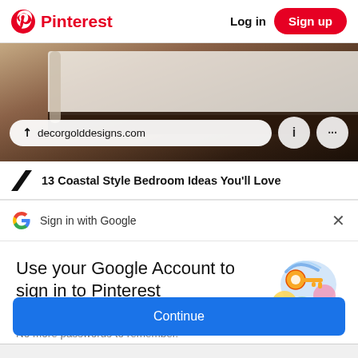Pinterest   Log in   Sign up
[Figure (screenshot): Bedroom interior photo showing a bed with white bedding on a dark wood platform frame, with a url overlay pill showing decorgolddesigns.com and action icons]
13 Coastal Style Bedroom Ideas You'll Love
Sign in with Google
Use your Google Account to sign in to Pinterest
No more passwords to remember. Signing in is fast, simple and secure.
[Figure (illustration): Google sign-in illustration with a golden key and colorful circular elements]
Continue